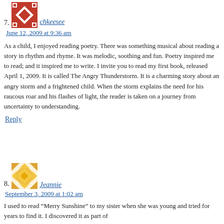7. chkeesee
June 12, 2009 at 9:36 am
As a child, I enjoyed reading poetry. There was something musical about reading a story in rhythm and rhyme. It was melodic, soothing and fun. Poetry inspired me to read; and it inspired me to write. I invite you to read my first book, released April 1, 2009. It is called The Angry Thunderstorm. It is a charming story about an angry storm and a frightened child. When the storm explains the need for his raucous roar and his flashes of light, the reader is taken on a journey from uncertainty to understanding.
Reply
8. Jeannie
September 3, 2009 at 1:02 am
I used to read “Merry Sunshine” to my sister when she was young and tried for years to find it. I discovered it as part of